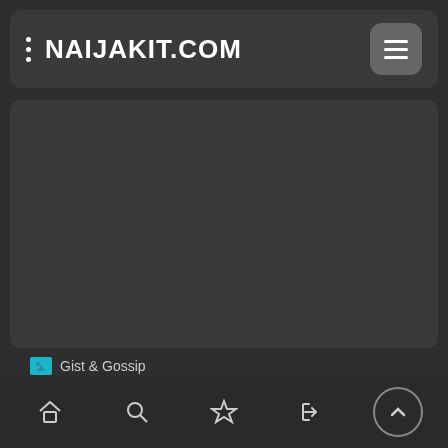NAIJAKIT.COM
[Figure (screenshot): Dark placeholder area, likely an advertisement or image content region]
Gist & Gossip
Man marries his wife's friend as she lied of earning N63K instead of N313K, builds house in secret